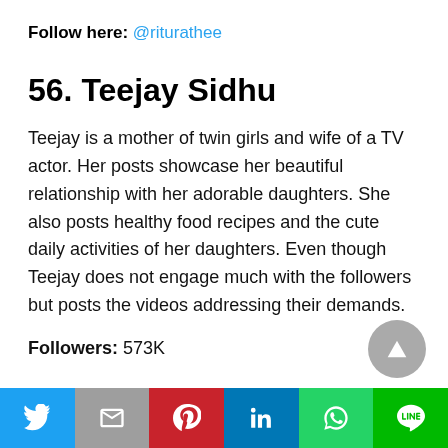Follow here: @riturathee
56. Teejay Sidhu
Teejay is a mother of twin girls and wife of a TV actor. Her posts showcase her beautiful relationship with her adorable daughters. She also posts healthy food recipes and the cute daily activities of her daughters. Even though Teejay does not engage much with the followers but posts the videos addressing their demands.
Followers: 573K